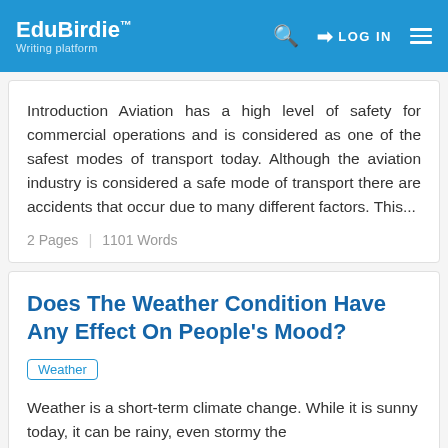EduBirdie™ Writing platform — LOG IN
Introduction Aviation has a high level of safety for commercial operations and is considered as one of the safest modes of transport today. Although the aviation industry is considered a safe mode of transport there are accidents that occur due to many different factors. This...
2 Pages | 1101 Words
Does The Weather Condition Have Any Effect On People's Mood?
Weather
Weather is a short-term climate change. While it is sunny today, it can be rainy, even stormy the